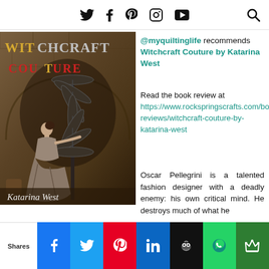Twitter, Facebook, Pinterest, Instagram, YouTube icons + Search icon
[Figure (photo): Book cover of Witchcraft Couture by Katarina West showing a woman in a long dress on a spiral staircase against a stone wall background]
@myquiltinglife recommends Witchcraft Couture by Katarina West
Read the book review at https://www.rockspringscrafts.com/book-reviews/witchcraft-couture-by-katarina-west
Oscar Pellegrini is a talented fashion designer with a deadly enemy: his own critical mind. He destroys much of what he
Shares | Facebook | Twitter | Pinterest | LinkedIn | Buffer | WhatsApp | Crown